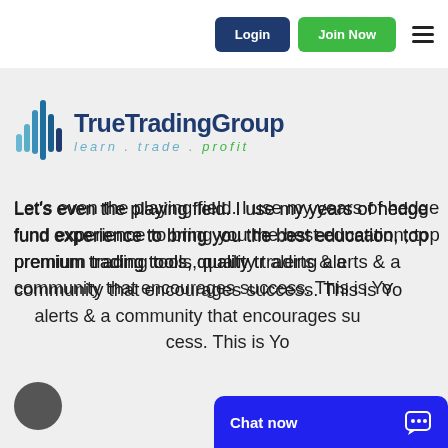Login | Join Now
[Figure (logo): True Trading Group logo with waveform icon and tagline: learn . trade . profit]
Let's even the playing field. I use my years of hedge fund experience to bring you the best education, top premium trading tools, quality trading alerts & a community that encourages success. This is Your TRUE TRADING GROUP!